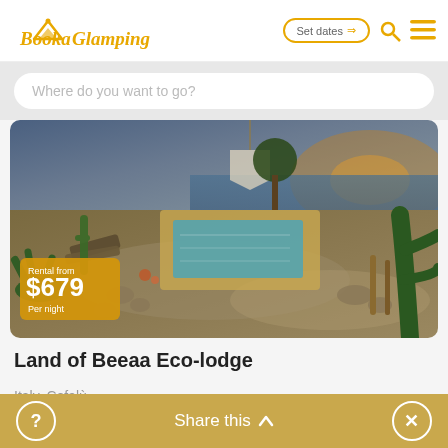BookaGlamping — Set dates → [search] [menu]
Where do you want to go?
[Figure (photo): Aerial/angled photo of a luxury glamping eco-lodge with a rectangular pool surrounded by desert/Mediterranean landscaping with cacti, gravel paths, lounge chairs, and an ocean view at sunset. Price badge overlay shows 'Rental from $679 Per night'.]
Land of Beeaa Eco-lodge
Italy, Cefalù
4 Sleeps, (New glamping)
? Share this ∧ ✕